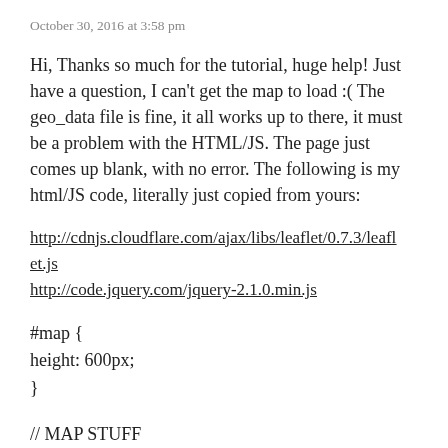October 30, 2016 at 3:58 pm
Hi, Thanks so much for the tutorial, huge help! Just have a question, I can't get the map to load :( The geo_data file is fine, it all works up to there, it must be a problem with the HTML/JS. The page just comes up blank, with no error. The following is my html/JS code, literally just copied from yours:
http://cdnjs.cloudflare.com/ajax/libs/leaflet/0.7.3/leaflet.js
http://code.jquery.com/jquery-2.1.0.min.js
#map {
height: 600px;
}
// MAP STUFF
// Load the tile images from OpenStreetMap